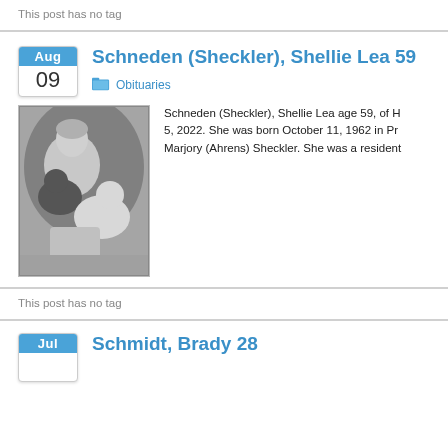This post has no tag
Schneden (Sheckler), Shellie Lea 59
Obituaries
[Figure (photo): Black and white photo of a woman sitting with two dogs]
Schneden (Sheckler), Shellie Lea age 59, of Ho 5, 2022. She was born October 11, 1962 in Pra Marjory (Ahrens) Sheckler. She was a resident
This post has no tag
Schmidt, Brady 28